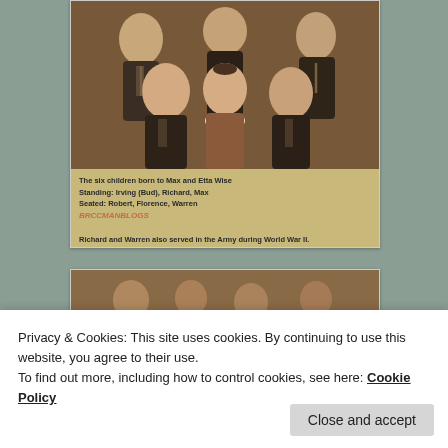[Figure (photo): Sepia-toned family portrait photograph showing six children of Max and Etta Wise. Three standing in back row (Irving/Bud, Richard, Max) and three in front (Robert, Florence, Warren). Black and white/sepia formal portrait style, early-to-mid 20th century.]
The six children born to Max and Etta Wise
Standing: Irving (Bud), Richard, Max
Seated: Robert, Florence, Warren

Richard and Warren also served in the Army during World War II.
[Figure (photo): Partially visible second sepia-toned photograph, partially obscured by cookie consent banner.]
Privacy & Cookies: This site uses cookies. By continuing to use this website, you agree to their use.
To find out more, including how to control cookies, see here: Cookie Policy